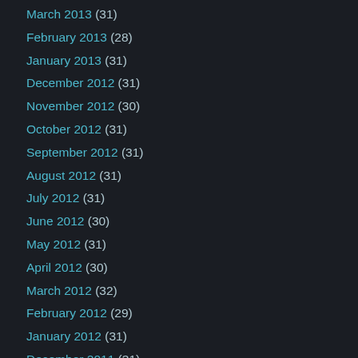March 2013 (31)
February 2013 (28)
January 2013 (31)
December 2012 (31)
November 2012 (30)
October 2012 (31)
September 2012 (31)
August 2012 (31)
July 2012 (31)
June 2012 (30)
May 2012 (31)
April 2012 (30)
March 2012 (32)
February 2012 (29)
January 2012 (31)
December 2011 (31)
November 2011 (30)
October 2011 (31)